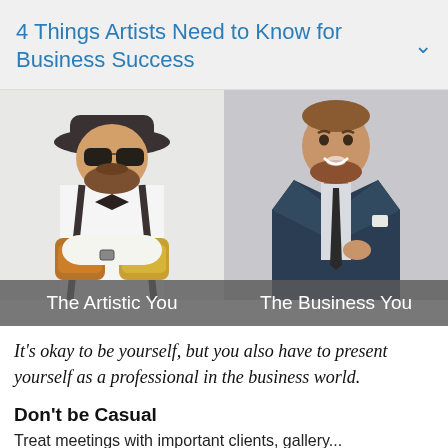4 Things Artists Need to Know for Business Success
[Figure (photo): Two side-by-side photos of bearded men. Left: man with sunglasses, bow tie, suspenders, and tattoos on his arms, arms crossed — labeled 'The Artistic You'. Right: smiling man in a dark suit and tie — labeled 'The Business You'.]
It's okay to be yourself, but you also have to present yourself as a professional in the business world.
Don't be Casual
Treat meetings with important clients, gallery...